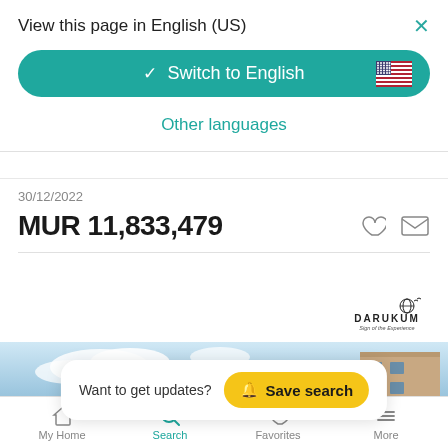View this page in English (US)
Switch to English
Other languages
30/12/2022
MUR 11,833,479
[Figure (logo): DARUKUM logo with globe and text 'Sign of the Experience']
[Figure (photo): Property building photo with blue sky background]
Want to get updates?
Save search
My Home  Search  Favorites  More